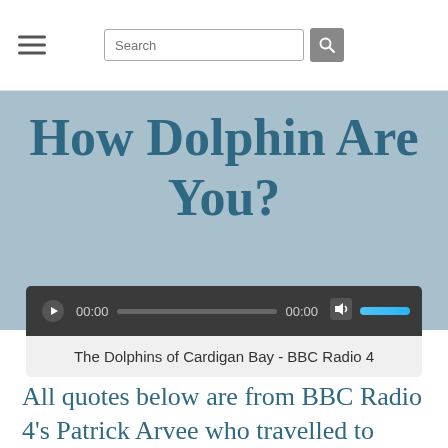Search
How Dolphin Are You?
[Figure (other): Audio player widget showing play button, 00:00 timestamps, progress bar, mute/volume controls, and a label reading 'The Dolphins of Cardigan Bay - BBC Radio 4']
All quotes below are from BBC Radio 4's Patrick Arvee who travelled to